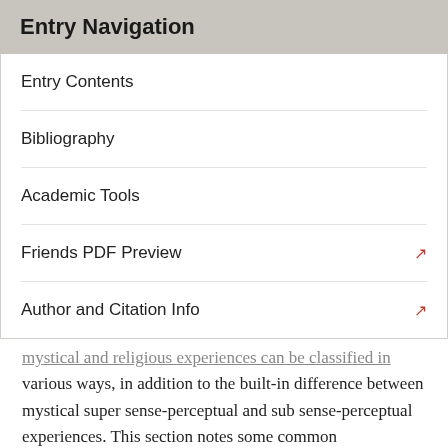Entry Navigation
Entry Contents
Bibliography
Academic Tools
Friends PDF Preview
Author and Citation Info
mystical and religious experiences can be classified in various ways, in addition to the built-in difference between mystical super sense-perceptual and sub sense-perceptual experiences. This section notes some common classifications.
2.1 Extrovertive and Introvertive
When any experience includes sense-perceptual, somatosensory, or introspective content, we may say it is an extrovertive experience. There are, then, mystical extrovertive experiences, as in one's mystical